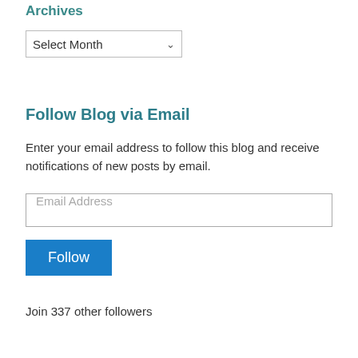Archives
Select Month
Follow Blog via Email
Enter your email address to follow this blog and receive notifications of new posts by email.
Email Address
Follow
Join 337 other followers